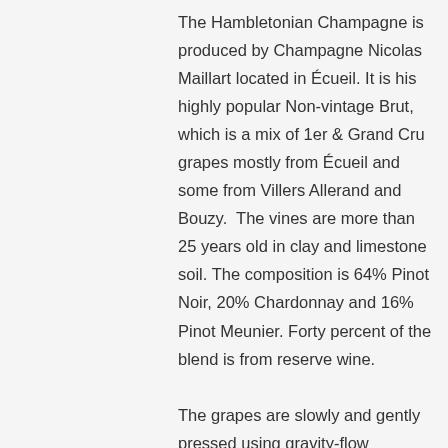The Hambletonian Champagne is produced by Champagne Nicolas Maillart located in Écueil. It is his highly popular Non-vintage Brut, which is a mix of 1er & Grand Cru grapes mostly from Écueil and some from Villers Allerand and Bouzy. The vines are more than 25 years old in clay and limestone soil. The composition is 64% Pinot Noir, 20% Chardonnay and 16% Pinot Meunier. Forty percent of the blend is from reserve wine.

The grapes are slowly and gently pressed using gravity-flow techniques. Fermentation is in temperature-controlled stainless steel vats and in barrel for the reserve wines. Aged three years